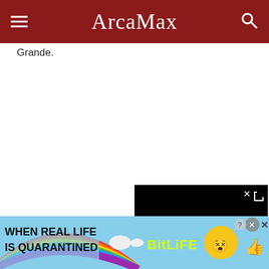ArcaMax
Grande.
[Figure (screenshot): Black video player overlay with a loading spinner circle and a close (x) button in the top right corner]
[Figure (screenshot): BitLife advertisement banner with rainbow background, text 'WHEN REAL LIFE IS QUARANTINED', BitLife logo, sperm icon, and emoji characters with star eyes and thumbs up. Has close/x buttons in top right.]